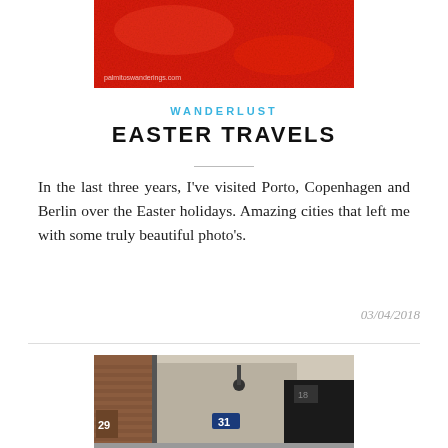[Figure (photo): Red textured surface photo with watermark 'palmitoswanderings.com' at the bottom left]
WANDERLUST
EASTER TRAVELS
In the last three years, I've visited Porto, Copenhagen and Berlin over the Easter holidays. Amazing cities that left me with some truly beautiful photo's.
03/04/2018
[Figure (photo): Street scene showing building facades with house numbers 29 and 31 visible on doors, urban architecture in muted tones]